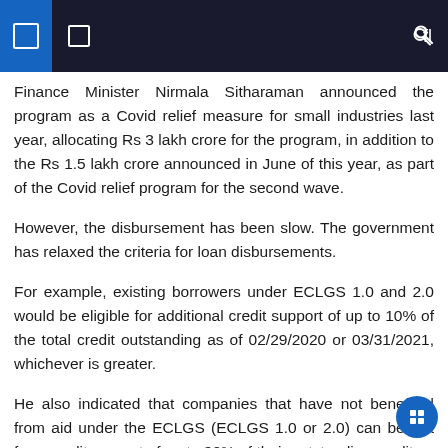navigation header with icons
Finance Minister Nirmala Sitharaman announced the program as a Covid relief measure for small industries last year, allocating Rs 3 lakh crore for the program, in addition to the Rs 1.5 lakh crore announced in June of this year, as part of the Covid relief program for the second wave.
However, the disbursement has been slow. The government has relaxed the criteria for loan disbursements.
For example, existing borrowers under ECLGS 1.0 and 2.0 would be eligible for additional credit support of up to 10% of the total credit outstanding as of 02/29/2020 or 03/31/2021, whichever is greater.
He also indicated that companies that have not benefited from aid under the ECLGS (ECLGS 1.0 or 2.0) can benefit from credit support of up to 30% of their outstanding credit as of